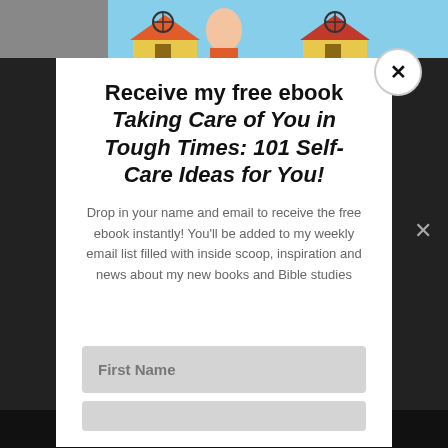[Figure (screenshot): Background showing a cartoon-style scene with houses and sky, with a dark overlay. A modal popup dialog appears in the center.]
Receive my free ebook Taking Care of You in Tough Times: 101 Self-Care Ideas for You!
Drop in your name and email to receive the free ebook instantly! You'll be added to my weekly email list filled with inside scoop, inspiration and news about my new books and Bible studies